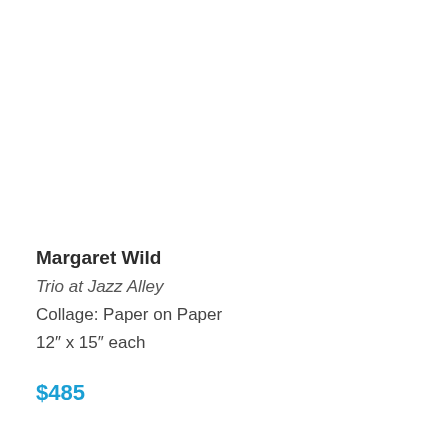Margaret Wild
Trio at Jazz Alley
Collage: Paper on Paper
12″ x 15″ each
$485